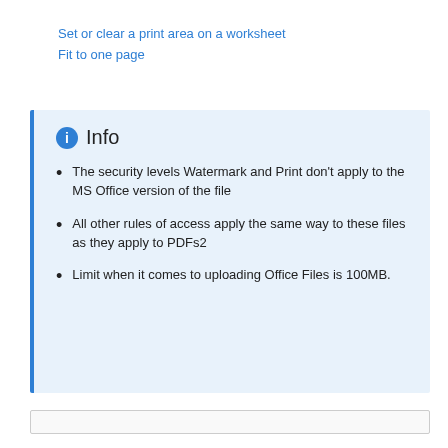Set or clear a print area on a worksheet
Fit to one page
Info
The security levels Watermark and Print don't apply to the MS Office version of the file
All other rules of access apply the same way to these files as they apply to PDFs2
Limit when it comes to uploading Office Files is 100MB.